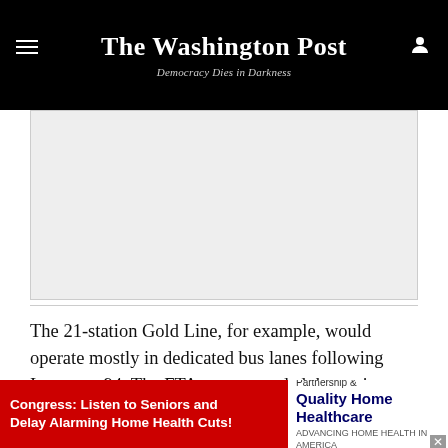The Washington Post — Democracy Dies in Darkness
[Figure (other): Gray placeholder rectangle for an advertisement or image, positioned below the site header.]
The 21-station Gold Line, for example, would operate mostly in dedicated bus lanes following Interstate 94. The FTA recommended the project receive $100 million in federal funds in the coming budget year. But
[Figure (other): Bottom banner advertisement: red background with white bold text 'Congress: Listen to Seniors and Delay Alarming Home Health Cuts!' on the left; white panel on the right showing 'Partnership &amp; Quality Home Healthcare' logo with tagline.]